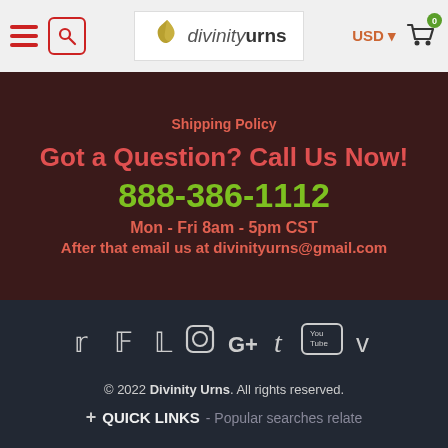[Figure (logo): Divinity Urns logo with leaf icon and text]
Shipping Policy
Got a Question? Call Us Now!
888-386-1112
Mon - Fri 8am - 5pm CST
After that email us at divinityurns@gmail.com
[Figure (infographic): Social media icons: Twitter, Facebook, Pinterest, Instagram, Google+, Tumblr, YouTube, Vimeo]
© 2022 Divinity Urns. All rights reserved.
+ QUICK LINKS - Popular searches relate